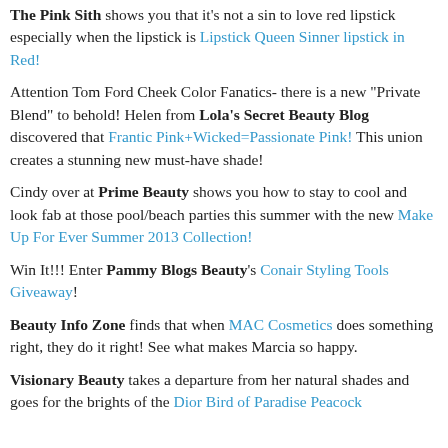The Pink Sith shows you that it's not a sin to love red lipstick especially when the lipstick is Lipstick Queen Sinner lipstick in Red!
Attention Tom Ford Cheek Color Fanatics- there is a new "Private Blend" to behold! Helen from Lola's Secret Beauty Blog discovered that Frantic Pink+Wicked=Passionate Pink! This union creates a stunning new must-have shade!
Cindy over at Prime Beauty shows you how to stay to cool and look fab at those pool/beach parties this summer with the new Make Up For Ever Summer 2013 Collection!
Win It!!! Enter Pammy Blogs Beauty's Conair Styling Tools Giveaway!
Beauty Info Zone finds that when MAC Cosmetics does something right, they do it right! See what makes Marcia so happy.
Visionary Beauty takes a departure from her natural shades and goes for the brights of the Dior Bird of Paradise Peacock